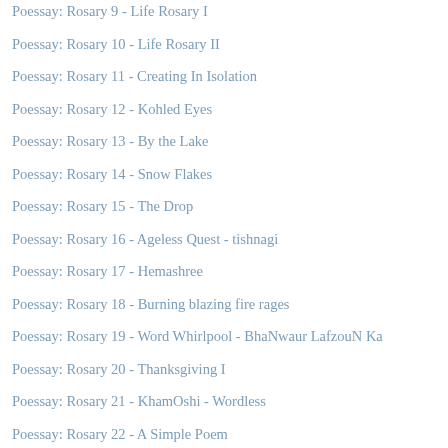Poessay: Rosary 9 - Life Rosary I
Poessay: Rosary 10 - Life Rosary II
Poessay: Rosary 11 - Creating In Isolation
Poessay: Rosary 12 - Kohled Eyes
Poessay: Rosary 13 - By the Lake
Poessay: Rosary 14 - Snow Flakes
Poessay: Rosary 15 - The Drop
Poessay: Rosary 16 - Ageless Quest - tishnagi
Poessay: Rosary 17 - Hemashree
Poessay: Rosary 18 - Burning blazing fire rages
Poessay: Rosary 19 - Word Whirlpool - BhaNwaur LafzouN Ka
Poessay: Rosary 20 - Thanksgiving I
Poessay: Rosary 21 - KhamOshi - Wordless
Poessay: Rosary 22 - A Simple Poem
Poessay: Rosary 23 - Musings